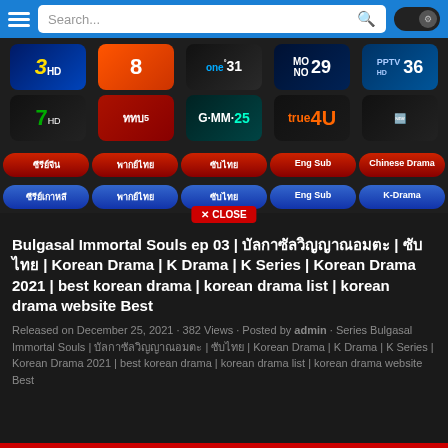Search...
[Figure (screenshot): Thai TV channel logos: Channel 3 HD, Channel 8, ONE 31, MONO 29, PPTV 36, Channel 7, TKTV, GMM 25, True 4U, and another channel]
ซีรีย์จีน | พากย์ไทย | ซับไทย | Eng Sub | Chinese Drama
ซีรีย์เกาหลี | พากย์ไทย | ซับไทย | Eng Sub | K-Drama
Bulgasal Immortal Souls ep 03 | บัลกาซัลวิญญาณอมตะ | ซับไทย | Korean Drama | K Drama | K Series | Korean Drama 2021 | best korean drama | korean drama list | korean drama website Best
Released on December 25, 2021 · 382 Views · Posted by admin · Series Bulgasal Immortal Souls | บัลกาซัลวิญญาณอมตะ | ซับไทย | Korean Drama | K Drama | K Series | Korean Drama 2021 | best korean drama | korean drama list | korean drama website Best